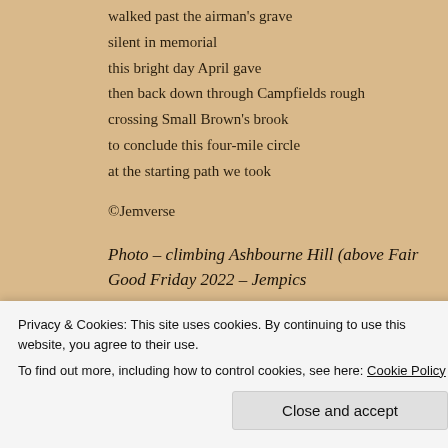walked past the airman's grave
silent in memorial
this bright day April gave
then back down through Campfields rough
crossing Small Brown's brook
to conclude this four-mile circle
at the starting path we took
©Jemverse
Photo – climbing Ashbourne Hill (above Fair... Good Friday 2022 – Jempics
Share this:
Privacy & Cookies: This site uses cookies. By continuing to use this website, you agree to their use.
To find out more, including how to control cookies, see here: Cookie Policy
Close and accept